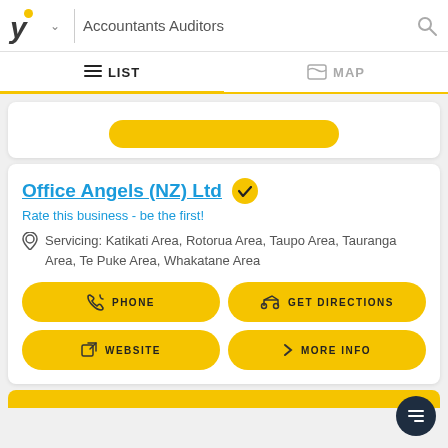Accountants Auditors
LIST   MAP
Office Angels (NZ) Ltd
Rate this business - be the first!
Servicing: Katikati Area, Rotorua Area, Taupo Area, Tauranga Area, Te Puke Area, Whakatane Area
PHONE
GET DIRECTIONS
WEBSITE
MORE INFO